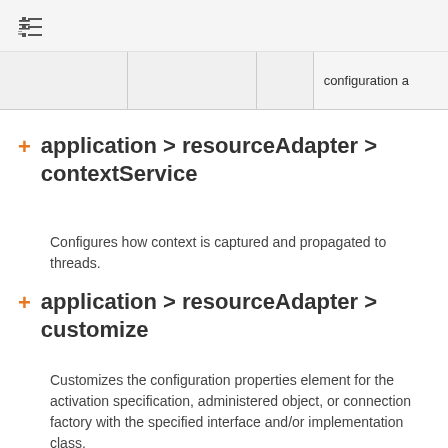[table of contents icon]
|  |  |  | configuration a |
+ application > resourceAdapter > contextService
Configures how context is captured and propagated to threads.
+ application > resourceAdapter > customize
Customizes the configuration properties element for the activation specification, administered object, or connection factory with the specified interface and/or implementation class.